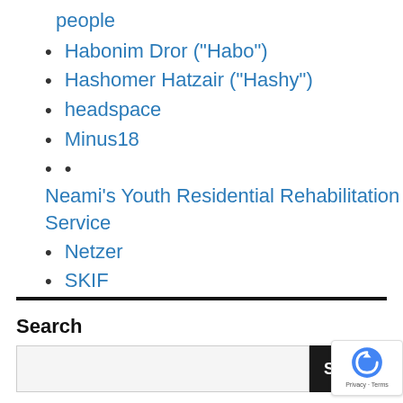people
Habonim Dror ("Habo")
Hashomer Hatzair ("Hashy")
headspace
Minus18
Neami's Youth Residential Rehabilitation Service
Netzer
SKIF
Search